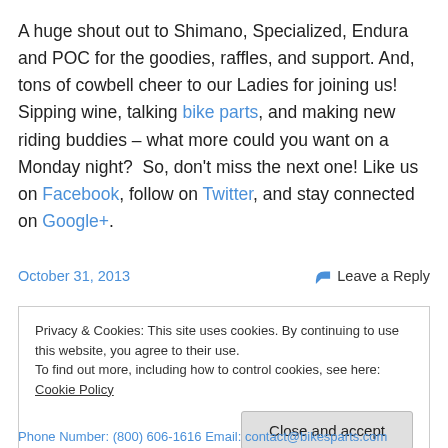A huge shout out to Shimano, Specialized, Endura and POC for the goodies, raffles, and support. And, tons of cowbell cheer to our Ladies for joining us! Sipping wine, talking bike parts, and making new riding buddies – what more could you want on a Monday night?  So, don't miss the next one! Like us on Facebook, follow on Twitter, and stay connected on Google+.
October 31, 2013
Leave a Reply
Privacy & Cookies: This site uses cookies. By continuing to use this website, you agree to their use.
To find out more, including how to control cookies, see here: Cookie Policy
Close and accept
Phone Number: (800) 606-1616 Email: contact@bikesparts.com